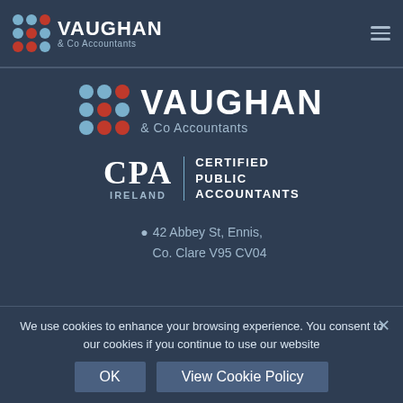VAUGHAN & Co Accountants
[Figure (logo): Vaughan & Co Accountants logo with dot grid and company name, large version]
[Figure (logo): CPA Ireland Certified Public Accountants logo]
42 Abbey St, Ennis, Co. Clare V95 CV04
We use cookies to enhance your browsing experience. You consent to our cookies if you continue to use our website
OK  View Cookie Policy